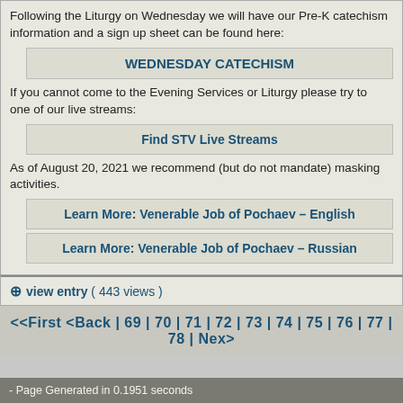Following the Liturgy on Wednesday we will have our Pre-K catechism information and a sign up sheet can be found here:
WEDNESDAY CATECHISM
If you cannot come to the Evening Services or Liturgy please try to join one of our live streams:
Find STV Live Streams
As of August 20, 2021 we recommend (but do not mandate) masking for activities.
Learn More: Venerable Job of Pochaev – English
Learn More: Venerable Job of Pochaev – Russian
view entry ( 443 views )
<<First <Back | 69 | 70 | 71 | 72 | 73 | 74 | 75 | 76 | 77 | 78 | Nex
- Page Generated in 0.1951 seconds